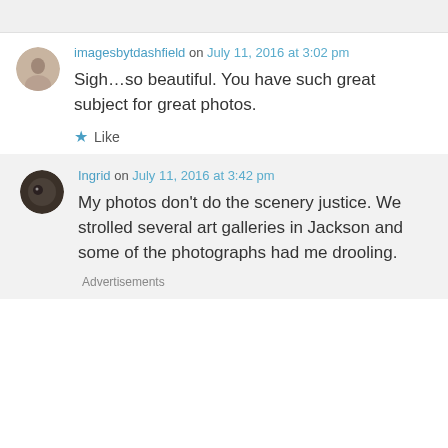imagesbytdashfield on July 11, 2016 at 3:02 pm
Sigh…so beautiful. You have such great subject for great photos.
★ Like
Ingrid on July 11, 2016 at 3:42 pm
My photos don't do the scenery justice. We strolled several art galleries in Jackson and some of the photographs had me drooling.
Advertisements